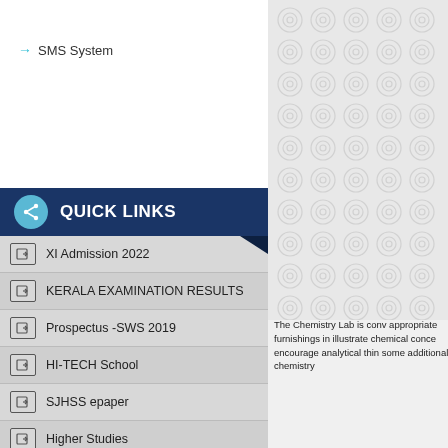→ SMS System
QUICK LINKS
XI Admission 2022
KERALA EXAMINATION RESULTS
Prospectus -SWS 2019
HI-TECH School
SJHSS epaper
Higher Studies
DHSE
Photo Gallery
The Chemistry Lab is conv appropriate furnishings illustrate chemical conce encourage analytical thin some additional chemistry